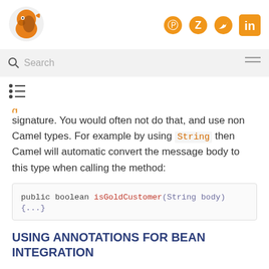[Figure (logo): Orange bird/fox logo for Apache Camel documentation site]
[Figure (illustration): Social icons: GitHub, Zulip, Twitter, LinkedIn in orange]
Search
[Figure (illustration): Hamburger menu icon]
[Figure (illustration): Table of contents list icon]
signature. You would often not do that, and use non Camel types. For example by using String then Camel will automatic convert the message body to this type when calling the method:
public boolean isGoldCustomer(String body) {...}
USING ANNOTATIONS FOR BEAN INTEGRATION